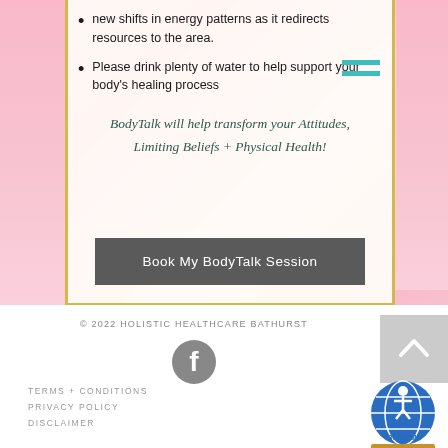new shifts in energy patterns as it redirects resources to the area.
Please drink plenty of water to help support your body's healing process
BodyTalk will help transform your Attitudes, Limiting Beliefs + Physical Health!
Book My BodyTalk Session
© 2022 Holistic Healthcare Bathurst
[Figure (logo): Facebook icon - circular grey icon with white f]
TERMS + CONDITIONS
PRIVACY POLICY
DISCLAIMER
[Figure (logo): BodyTalk logo - globe with person figure on top, brown base, BodyTalk text]